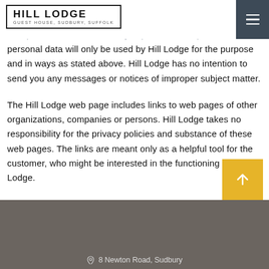Hill Lodge Guest House, Sudbury, Suffolk
ill Lodge and its subsidiaries undertake to protect you with law and to do everything in their power to secure the data you provided. The provided personal data will only be used by Hill Lodge for the purpose and in ways as stated above. Hill Lodge has no intention to send you any messages or notices of improper subject matter.
The Hill Lodge web page includes links to web pages of other organizations, companies or persons. Hill Lodge takes no responsibility for the privacy policies and substance of these web pages. The links are meant only as a helpful tool for the customer, who might be interested in the functioning of Hill Lodge.
8 Newton Road, Sudbury